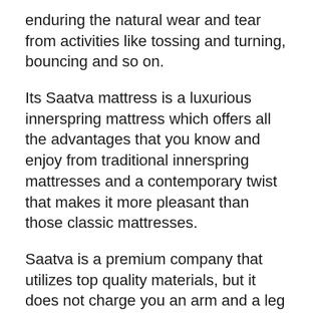enduring the natural wear and tear from activities like tossing and turning, bouncing and so on.
Its Saatva mattress is a luxurious innerspring mattress which offers all the advantages that you know and enjoy from traditional innerspring mattresses and a contemporary twist that makes it more pleasant than those classic mattresses.
Saatva is a premium company that utilizes top quality materials, but it does not charge you an arm and a leg for their products.
This is why I would like to think of the brand as affordable luxury.